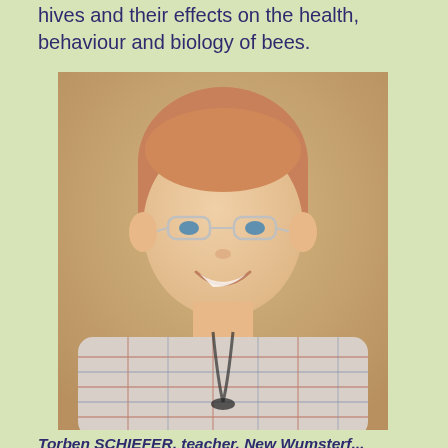hives and their effects on the health, behaviour and biology of bees.
[Figure (photo): Portrait photo of a smiling man with reddish-blonde hair and glasses, wearing a plaid shirt, against a warm beige background.]
Torben SCHEFER, teacher, New Wumsterf...